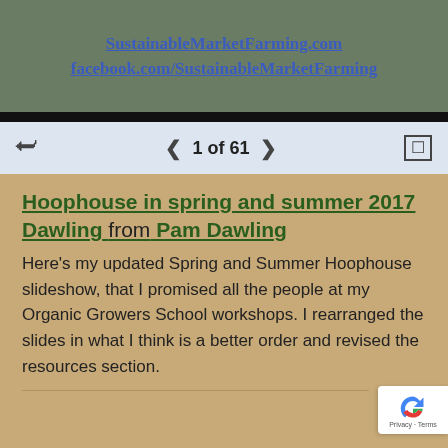[Figure (screenshot): Top banner with greenish background showing website links: SustainableMarketFarming.com and facebook.com/SustainableMarketFarming]
1 of 61
Hoophouse in spring and summer 2017 Dawling from Pam Dawling
Here’s my updated Spring and Summer Hoophouse slideshow, that I promised all the people at my Organic Growers School workshops. I rearranged the slides in what I think is a better order and revised the resources section.
[Figure (screenshot): Bottom strip showing beginning of next slide image]